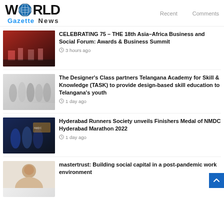[Figure (logo): World Gazette News logo with globe icon]
Recent   Comments
[Figure (photo): Event photo showing people on stage with red backdrop]
CELEBRATING 75 – THE 18th Asia–Africa Business and Social Forum: Awards & Business Summit
3 hours ago
[Figure (photo): Group of people holding certificates indoors]
The Designer's Class partners Telangana Academy for Skill & Knowledge (TASK) to provide design-based skill education to Telangana's youth
1 day ago
[Figure (photo): People at a running event holding medals or trophies]
Hyderabad Runners Society unveils Finishers Medal of NMDC Hyderabad Marathon 2022
1 day ago
[Figure (photo): Portrait of a woman]
mastertrust: Building social capital in a post-pandemic work environment